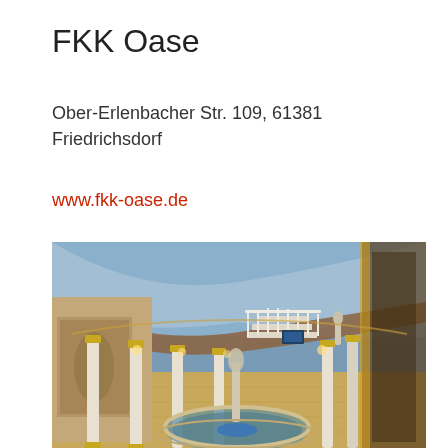FKK Oase
Ober-Erlenbacher Str. 109, 61381 Friedrichsdorf
www.fkk-oase.de
[Figure (photo): Interior of FKK Oase spa showing a circular pool/fountain surrounded by classical white and gold columns, ornate murals on walls, a staircase with white railings in the background, statues, and an elaborately decorated ceiling with sky motifs. Warm ambient lighting throughout.]